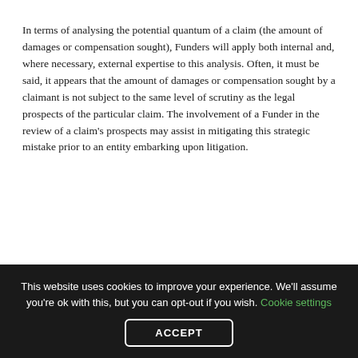In terms of analysing the potential quantum of a claim (the amount of damages or compensation sought), Funders will apply both internal and, where necessary, external expertise to this analysis. Often, it must be said, it appears that the amount of damages or compensation sought by a claimant is not subject to the same level of scrutiny as the legal prospects of the particular claim. The involvement of a Funder in the review of a claim's prospects may assist in mitigating this strategic mistake prior to an entity embarking upon litigation.
Criteria for Capability...
This website uses cookies to improve your experience. We'll assume you're ok with this, but you can opt-out if you wish. Cookie settings